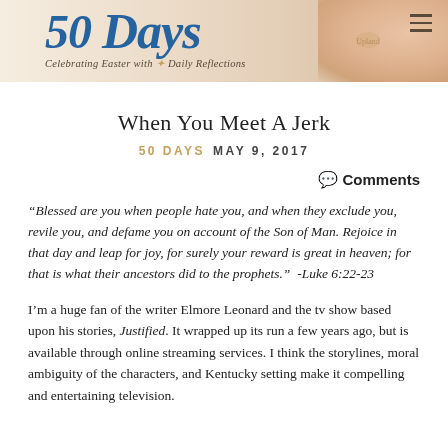50 Days — Celebrating Easter with Daily Reflections
When You Meet A Jerk
50 DAYS  MAY 9, 2017
Comments
“Blessed are you when people hate you, and when they exclude you, revile you, and defame you on account of the Son of Man. Rejoice in that day and leap for joy, for surely your reward is great in heaven; for that is what their ancestors did to the prophets.”  -Luke 6:22-23
I’m a huge fan of the writer Elmore Leonard and the tv show based upon his stories, Justified. It wrapped up its run a few years ago, but is available through online streaming services. I think the storylines, moral ambiguity of the characters, and Kentucky setting make it compelling and entertaining television.